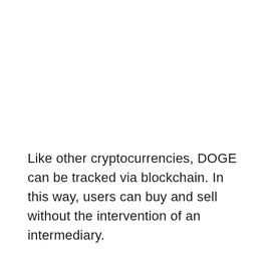Like other cryptocurrencies, DOGE can be tracked via blockchain. In this way, users can buy and sell without the intervention of an intermediary.